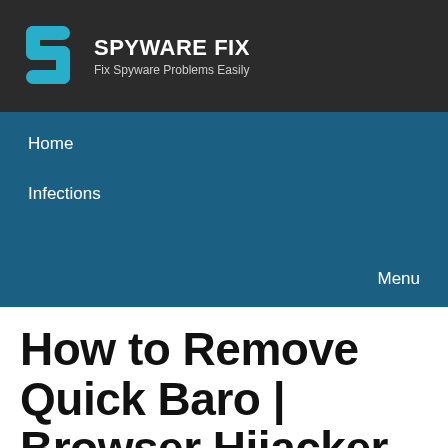[Figure (logo): Spyware Fix website logo with teal S-shaped icon and white bold text SPYWARE FIX with tagline Fix Spyware Problems Easily on dark background]
Home
Infections
Menu
How to Remove Quick Baro | Browser Hijacker
Posted on May 22, 2022 - Browser Hijacker, Infections, Removal Guides, Security Tips